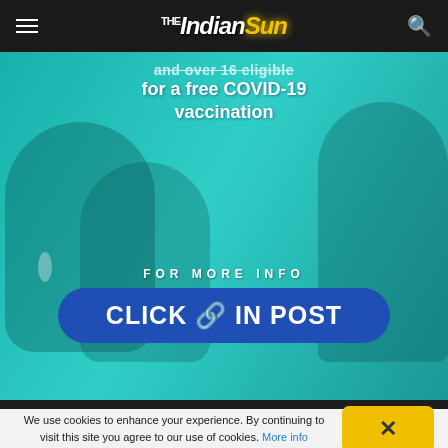The Indian Sun
[Figure (photo): Teal-tinted photo of two people, one receiving a vaccination from a healthcare worker in a white coat, with overlay text about COVID-19 vaccination eligibility, 'FOR MORE INFO', and a blue 'CLICK IN POST' button.]
and over 16 eligible for a free COVID-19 vaccination
FOR MORE INFO
CLICK 🔗 IN POST
We use cookies to enhance your experience. By continuing to visit this site you agree to our use of cookies. More info